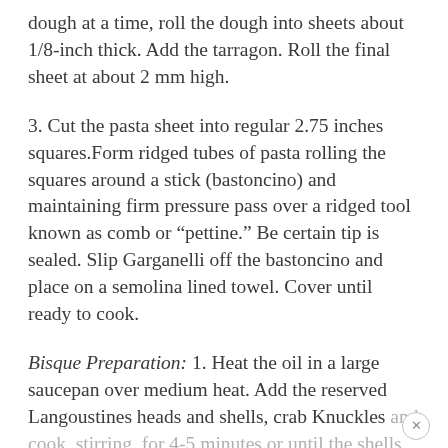dough at a time, roll the dough into sheets about 1/8-inch thick. Add the tarragon. Roll the final sheet at about 2 mm high.
3. Cut the pasta sheet into regular 2.75 inches squares.Form ridged tubes of pasta rolling the squares around a stick (bastoncino) and maintaining firm pressure pass over a ridged tool known as comb or “pettine.” Be certain tip is sealed. Slip Garganelli off the bastoncino and place on a semolina lined towel. Cover until ready to cook.
Bisque Preparation: 1. Heat the oil in a large saucepan over medium heat. Add the reserved Langoustines heads and shells, crab Knuckles and cook, stirring, for 4-5 minutes or until the shells start to caramelise and all smell roasted.